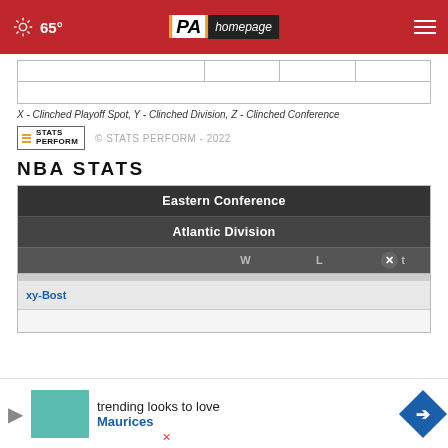65° PA Homepage
|  |  |  |  |
| --- | --- | --- | --- |
|  |
X - Clinched Playoff Spot, Y - Clinched Division, Z - Clinched Conference
[Figure (logo): Stats Perform logo badge]
© STATS PERFORM - 2022
NBA STATS
| Eastern Conference |
| --- |
| Atlantic Division |
|  | W | L | t |
| xy-Bost |  |  |  |